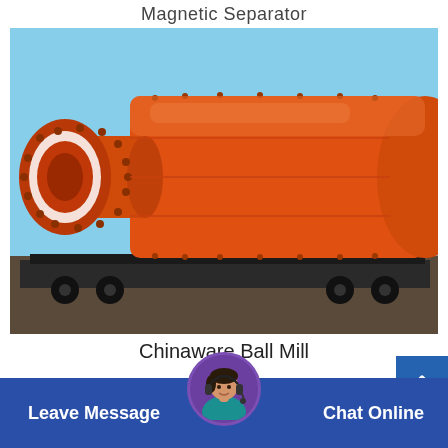Magnetic Separator
[Figure (photo): Large orange industrial ball mill mounted on a flatbed trailer, photographed from the front-left angle showing the cylindrical drum body with bolted flanges and a circular inlet opening, against a blue sky background.]
Chinaware Ball Mill
[Figure (photo): Customer service representative avatar with headset, shown in a circular frame at the center of the bottom navigation bar.]
Leave Message
Chat Online